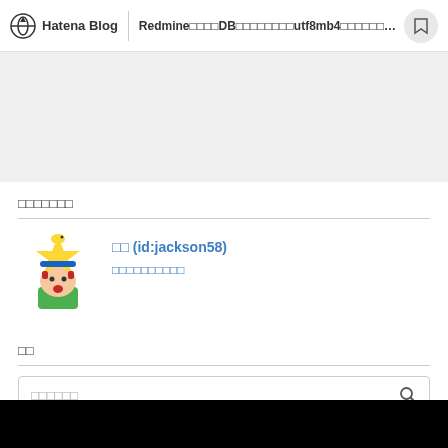Hatena Blog | Redmine□□□□DB□□□□□□□□utf8mb4□□□□□□□□□...
[Figure (other): Gray advertisement placeholder area]
□□□□□□□
[Figure (illustration): Cartoon avatar: child character wearing yellow star-shaped hat with small bird on top, blue hat brim, green shirt, surprised expression]
□□ (id:jackson58)
□□□□□□□□□□
□□
□□□□□□